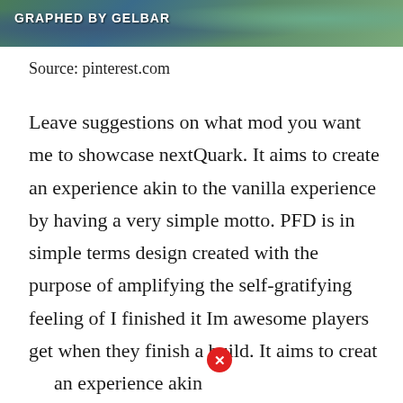[Figure (screenshot): Minecraft-style game screenshot banner with 'GRAPHED BY GELBAR' text overlay in white bold text on a green/teal background]
Source: pinterest.com
Leave suggestions on what mod you want me to showcase nextQuark. It aims to create an experience akin to the vanilla experience by having a very simple motto. PFD is in simple terms design created with the purpose of amplifying the self-gratifying feeling of I finished it Im awesome players get when they finish a build. It aims to creat an experience akin